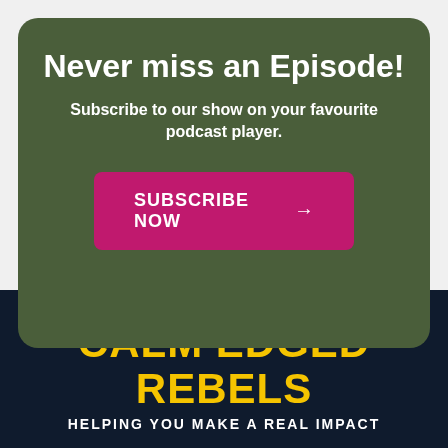Never miss an Episode!
Subscribe to our show on your favourite podcast player.
[Figure (infographic): Magenta/pink button with text SUBSCRIBE NOW and right arrow]
CALM EDGED REBELS
HELPING YOU MAKE A REAL IMPACT